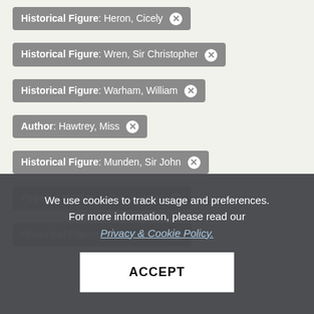Historical Figure: Heron, Cicely ×
Historical Figure: Wren, Sir Christopher ×
Historical Figure: Warham, William ×
Author: Hawtrey, Miss ×
Historical Figure: Munden, Sir John ×
Pageant Master: Irvine, J. Harry ×
Historical Figure: Mandubratius ×
Date(s)
We use cookies to track usage and preferences. For more information, please read our Privacy & Cookie Policy.
ACCEPT